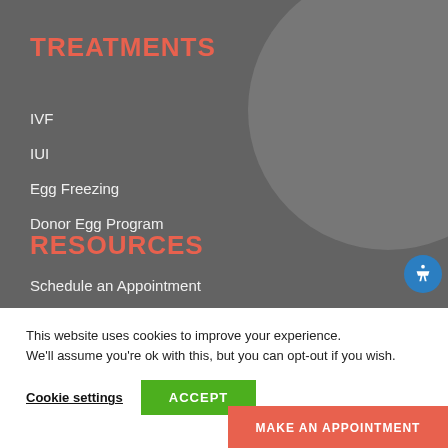TREATMENTS
IVF
IUI
Egg Freezing
Donor Egg Program
RESOURCES
Schedule an Appointment
This website uses cookies to improve your experience. We'll assume you're ok with this, but you can opt-out if you wish.
Cookie settings
ACCEPT
MAKE AN APPOINTMENT